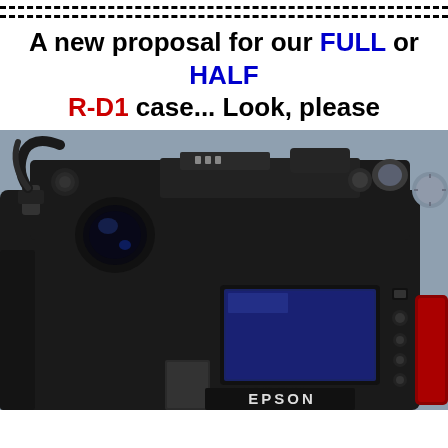--- dashed border lines ---
A new proposal for our FULL or HALF R-D1 case... Look, please
[Figure (photo): Close-up photograph of the back and top of an Epson R-D1 digital rangefinder camera, showing the viewfinder, LCD screen, control buttons, hot shoe, and camera strap. The camera is black with a leather case and has a visible red element on the right side.]